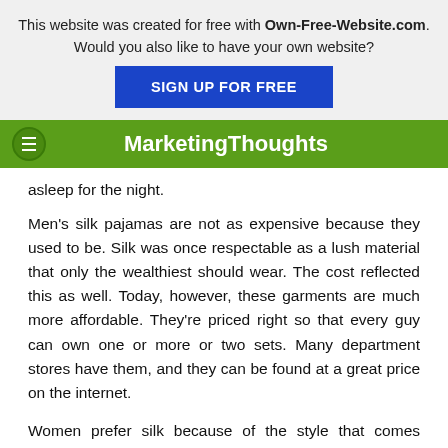This website was created for free with Own-Free-Website.com. Would you also like to have your own website? SIGN UP FOR FREE
MarketingThoughts
asleep for the night.
Men's silk pajamas are not as expensive because they used to be. Silk was once respectable as a lush material that only the wealthiest should wear. The cost reflected this as well. Today, however, these garments are much more affordable. They're priced right so that every guy can own one or more or two sets. Many department stores have them, and they can be found at a great price on the internet.
Women prefer silk because of the style that comes combined with the material. Men, however, tend not to value this, and instead like silk PJ's for their comfort and feel. The lightweight material is thin enough to keep you cool through the night. Many men find most pajamas to be too hot and uncomfortable to truly sleep in. Silk may also a stronger fabric than most others. It will keep its shape